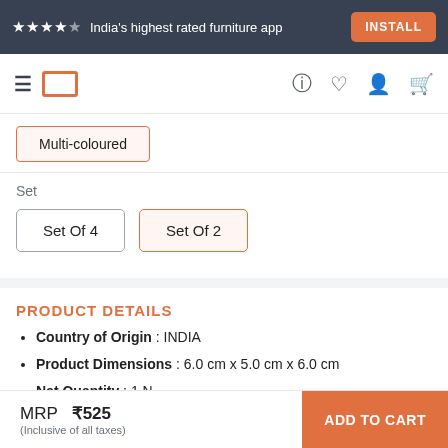★★★★☆ India's highest rated furniture app  INSTALL
[Figure (screenshot): Navigation bar with hamburger menu, Pepperfry logo box, and icons for help, wishlist, account, and cart]
Multi-coloured
Set
Set Of 4
Set Of 2
PRODUCT DETAILS
Country of Origin : INDIA
Product Dimensions : 6.0 cm x 5.0 cm x 6.0 cm
Net Quantity : 1 N
More Information >
MRP  ₹525  (Inclusive of all taxes)  ADD TO CART